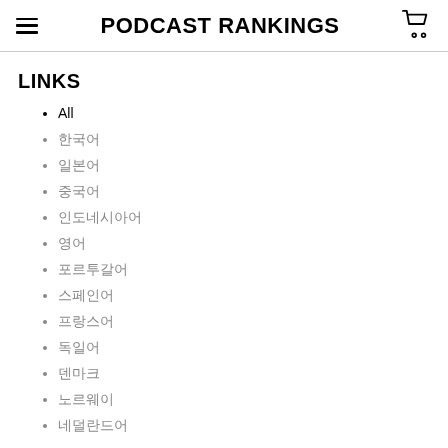PODCAST RANKINGS
LINKS
All
한국어
일본어
중국어
인도네시아어
영어
포르투갈어
스페인어
프랑스어
독일어
덴마크
노르웨이
네덜란드어